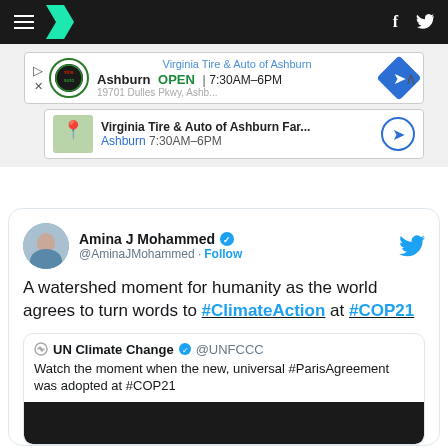HuffPost navigation bar with logo, facebook and twitter icons
[Figure (screenshot): Advertisement for Virginia Tire & Auto of Ashburn, showing logo, OPEN 7:30AM-6PM, with map thumbnail and location details]
[Figure (screenshot): Embedded tweet by Amina J Mohammed (@AminaJMohammed): 'A watershed moment for humanity as the world agrees to turn words to #ClimateAction at #COP21', with a retweet from UN Climate Change (@UNFCCC): 'Watch the moment when the new, universal #ParisAgreement was adopted at #COP21']